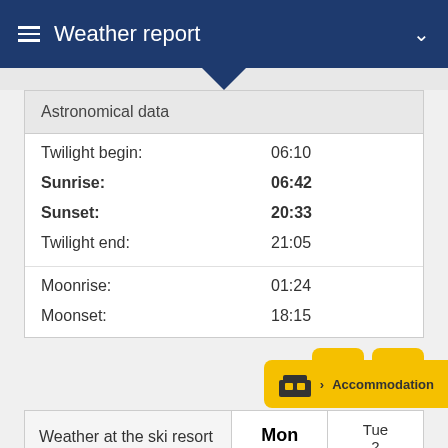Weather report
| Astronomical data |  |
| --- | --- |
| Twilight begin: | 06:10 |
| Sunrise: | 06:42 |
| Sunset: | 20:33 |
| Twilight end: | 21:05 |
| Moonrise: | 01:24 |
| Moonset: | 18:15 |
| Weather at the ski resort / ski/mountain weather | Mon 22.08 | Tue 2... De... |
| --- | --- | --- |